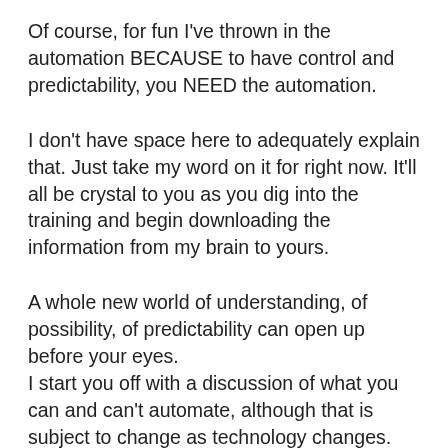Of course, for fun I've thrown in the automation BECAUSE to have control and predictability, you NEED the automation.
I don't have space here to adequately explain that. Just take my word on it for right now. It'll all be crystal to you as you dig into the training and begin downloading the information from my brain to yours.
A whole new world of understanding, of possibility, of predictability can open up before your eyes. I start you off with a discussion of what you can and can't automate, although that is subject to change as technology changes. New amazing things become possible almost daily.